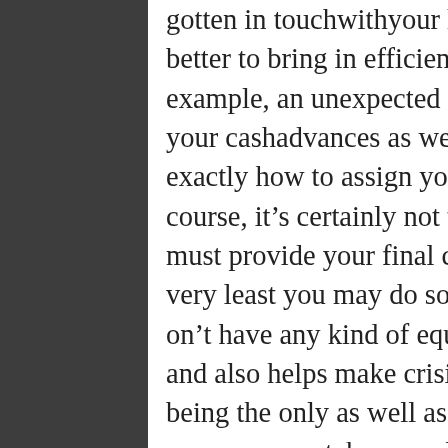gotten in touchwithyour household budget, it's far better to bring in efficient selections on time. For example, an unexpected issue popped up in between your cashadvances as well as you don't recognize exactly how to assign your cashintelligently. Of course, it's certainly not the best sensation when you must provide your final cashmoney however at the very least you may do something. Some people put on't have any kind of equilibrium on their accounts and also helps make crisis. Cashadvance firms end up being the only as well as best service because below a person may take a small sum that will definitely discharge financial obligations, cover the power expenditures, or even help to repay a visitor traffic penalty. SpeedyLoan is actually a simple technique to acquire money and point out good-bye to all tedious challenges happening in your life.